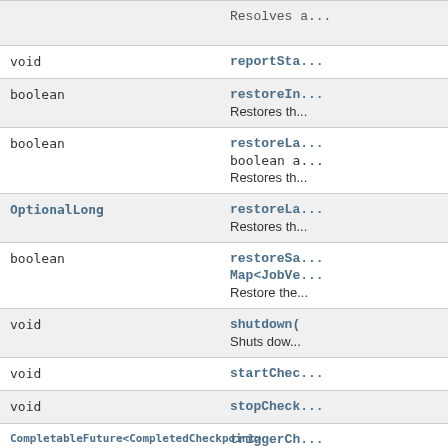| Type | Method/Description |
| --- | --- |
| void | reportSta... / Resolves a... |
| boolean | restoreIn... / Restores th... |
| boolean | restoreLa... / boolean a... / Restores th... |
| OptionalLong | restoreLa... / Restores th... |
| boolean | restoreSa... / Map<JobVe... / Restore the... |
| void | shutdown( / Shuts dow... |
| void | startChec... |
| void | stopCheck... |
| CompletableFuture<CompletedCheckpoint> | triggerCh... |